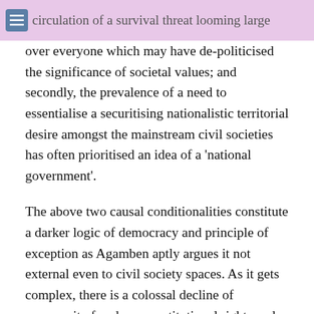for two main reasons; one, due to a higher circulation of a survival threat looming large over everyone which may have de-politicised the significance of societal values; and secondly, the prevalence of a need to essentialise a securitising nationalistic territorial desire amongst the mainstream civil societies has often prioritised an idea of a ‘national government’.
The above two causal conditionalities constitute a darker logic of democracy and principle of exception as Agamben aptly argues it not external even to civil society spaces. As it gets complex, there is a colossal decline of community freedom, constitutional rights and justice delivery. Such a drop-off of the civil society discursively relegates the exceptionalities into irrelevance with a